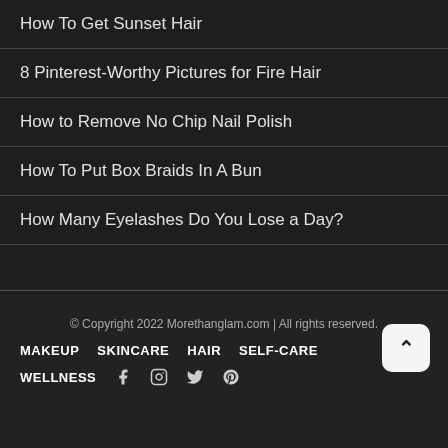How To Get Sunset Hair
8 Pinterest-Worthy Pictures for Fire Hair
How to Remove No Chip Nail Polish
How To Put Box Braids In A Bun
How Many Eyelashes Do You Lose a Day?
© Copyright 2022 Morethanglam.com | All rights reserved.
MAKEUP   SKINCARE   HAIR   SELF-CARE
WELLNESS